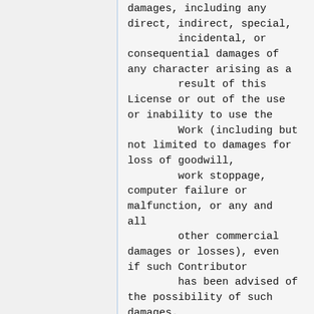damages, including any direct, indirect, special,
        incidental, or
consequential damages of
any character arising as a
        result of this
License or out of the use
or inability to use the
        Work (including but
not limited to damages for
loss of goodwill,
        work stoppage,
computer failure or
malfunction, or any and
all
        other commercial
damages or losses), even
if such Contributor
        has been advised of
the possibility of such
damages.
9. Accepting Warranty
or Additional Liability.
While redistributing